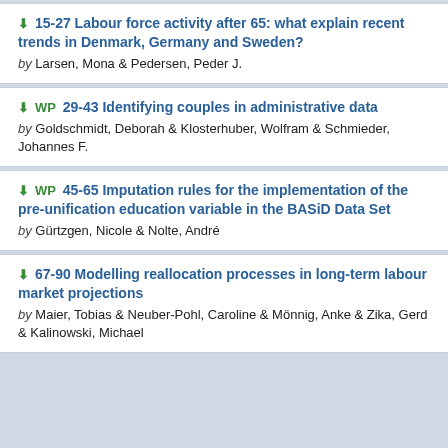⬇ 15-27 Labour force activity after 65: what explain recent trends in Denmark, Germany and Sweden? by Larsen, Mona & Pedersen, Peder J.
⬇ WP 29-43 Identifying couples in administrative data by Goldschmidt, Deborah & Klosterhuber, Wolfram & Schmieder, Johannes F.
⬇ WP 45-65 Imputation rules for the implementation of the pre-unification education variable in the BASiD Data Set by Gürtzgen, Nicole & Nolte, André
⬇ 67-90 Modelling reallocation processes in long-term labour market projections by Maier, Tobias & Neuber-Pohl, Caroline & Mönnig, Anke & Zika, Gerd & Kalinowski, Michael